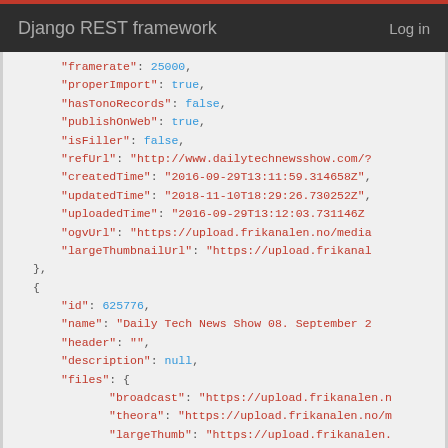Django REST framework  Log in
JSON code block showing API response fields: framerate, properImport, hasTonoRecords, publishOnWeb, isFiller, refUrl, createdTime, updatedTime, uploadedTime, ogvUrl, largeThumbnailUrl, then a new object with id: 625776, name, header, description, files with broadcast, theora, largeThumb, original, smallThumb